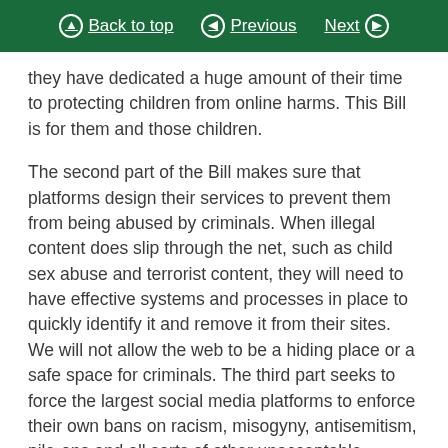Back to top | Previous | Next
they have dedicated a huge amount of their time to protecting children from online harms. This Bill is for them and those children.
The second part of the Bill makes sure that platforms design their services to prevent them from being abused by criminals. When illegal content does slip through the net, such as child sex abuse and terrorist content, they will need to have effective systems and processes in place to quickly identify it and remove it from their sites. We will not allow the web to be a hiding place or a safe space for criminals. The third part seeks to force the largest social media platforms to enforce their own bans on racism, misogyny, antisemitism, pile-ons and all sorts of other unacceptable behaviour that